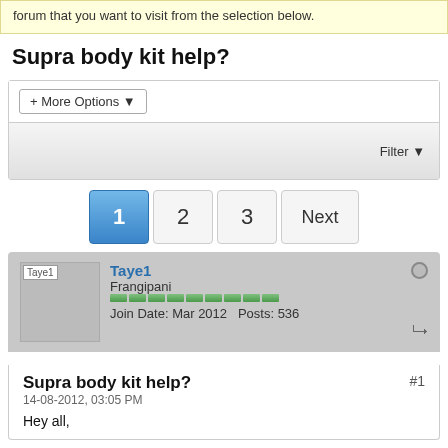forum that you want to visit from the selection below.
Supra body kit help?
+ More Options ▾
Filter ▼
1 2 3 Next
Taye1
Frangipani
Join Date: Mar 2012  Posts: 536
Supra body kit help?
14-08-2012, 03:05 PM
Hey all,